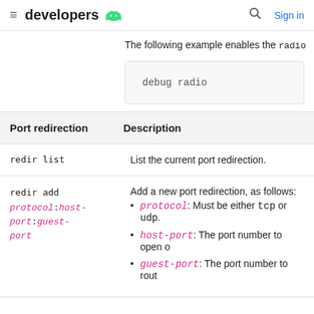developers [android logo] | Sign in
The following example enables the radio
debug radio
| Port redirection | Description |
| --- | --- |
| redir list | List the current port redirection. |
| redir add protocol:host-port:guest-port | Add a new port redirection, as follows:
• protocol: Must be either tcp or udp.
• host-port: The port number to open o
• guest-port: The port number to rout |